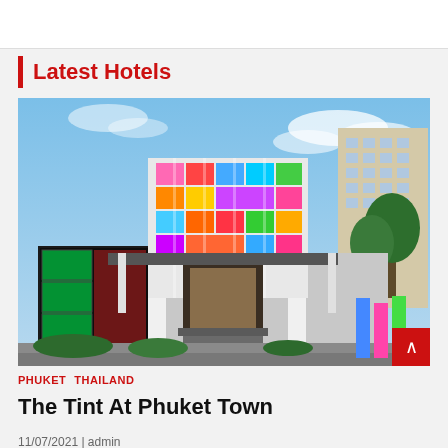Latest Hotels
[Figure (photo): Exterior photo of The Tint At Phuket Town hotel, featuring a colorful multi-story facade with stained glass panels in pink, blue, green, orange and other bright colors, with lush greenery and adjacent tall buildings visible]
PHUKET  THAILAND
The Tint At Phuket Town
11/07/2021 | admin